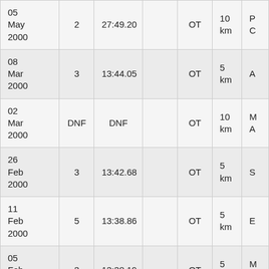| 05 May 2000 | 2 | 27:49.20 |  | OT | 10 km | P C… |
| 08 Mar 2000 | 3 | 13:44.05 |  | OT | 5 km | A… |
| 02 Mar 2000 | DNF | DNF |  | OT | 10 km | M A… |
| 26 Feb 2000 | 3 | 13:42.68 |  | OT | 5 km | S… |
| 11 Feb 2000 | 5 | 13:38.86 |  | OT | 5 km | E… |
| 05 Feb 2000 | 3 | 13:38.19 |  | OT | 5 km | M A… |